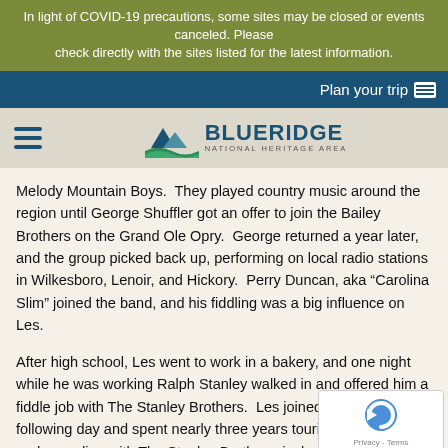In light of COVID-19 precautions, some sites may be closed or events canceled. Please check directly with the sites listed for the latest information.
Plan your trip
[Figure (logo): Blue Ridge National Heritage Area logo with mountain/water graphic and text]
Melody Mountain Boys.  They played country music around the region until George Shuffler got an offer to join the Bailey Brothers on the Grand Ole Opry.  George returned a year later, and the group picked back up, performing on local radio stations in Wilkesboro, Lenoir, and Hickory.  Perry Duncan, aka “Carolina Slim” joined the band, and his fiddling was a big influence on Les.
After high school, Les went to work in a bakery, and one night while he was working Ralph Stanley walked in and offered him a fiddle job with The Stanley Brothers.  Les joined the band the following day and spent nearly three years touring, performing, and recording with The Stanley Brothers, including fiddl[ing on] their first recording of “Man of Constant Sorrow.”  Les pl[ayed] with the Stanley Brothers on the popular Farm & Fun Time